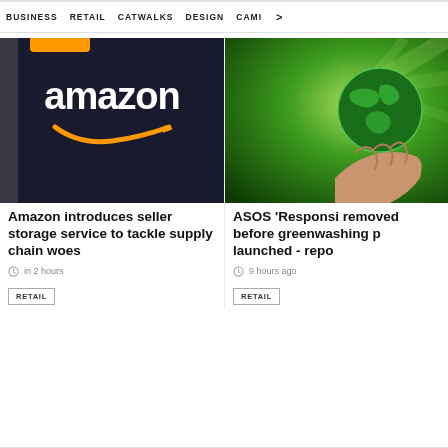BUSINESS   RETAIL   CATWALKS   DESIGN   CAMI  >
[Figure (photo): Amazon logo on dark background with orange bar accent]
Amazon introduces seller storage service to tackle supply chain woes
in 2 hours
RETAIL
[Figure (photo): Hand holding green glowing Earth globe on green radiant background]
ASOS 'Responsi removed before greenwashing p launched - repo
9 hours ago
RETAIL